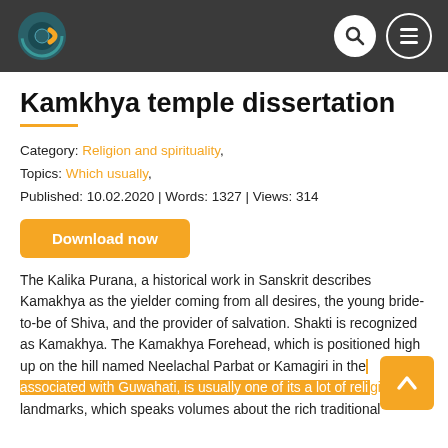[Figure (logo): Website header with dark background, logo on left (circular icon with teal and yellow design), search icon and hamburger menu icon on right]
Kamkhya temple dissertation
Category: Religion and spirituality,
Topics: Which usually,
Published: 10.02.2020 | Words: 1327 | Views: 314
Download now
The Kalika Purana, a historical work in Sanskrit describes Kamakhya as the yielder coming from all desires, the young bride-to-be of Shiva, and the provider of salvation. Shakti is recognized as Kamakhya. The Kamakhya Forehead, which is positioned high up on the hill named Neelachal Parbat or Kamagiri in the associated with Guwahati, is usually one of its a lot of religious landmarks, which speaks volumes about the rich traditional